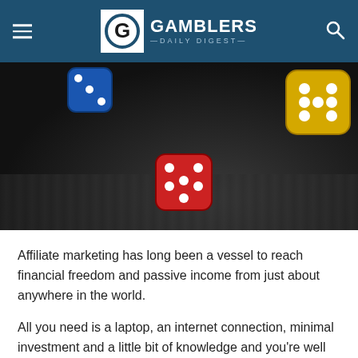GAMBLERS DAILY DIGEST
[Figure (photo): Colorful dice (blue, red, yellow) floating/falling against a dark background, giving a dramatic casino feel.]
Affiliate marketing has long been a vessel to reach financial freedom and passive income from just about anywhere in the world.
All you need is a laptop, an internet connection, minimal investment and a little bit of knowledge and you’re well on your way to becoming a self-made millionaire without even selling your own product. It’s a dream come true, well at least it would be if it were all that simple.